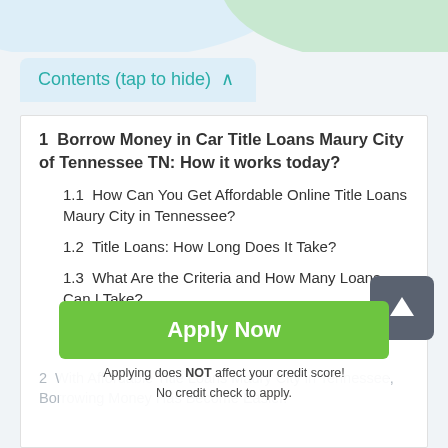[Figure (illustration): Top decorative arcs — light blue on left, green on right]
Contents (tap to hide) ^
1  Borrow Money in Car Title Loans Maury City of Tennessee TN: How it works today?
1.1  How Can You Get Affordable Online Title Loans Maury City in Tennessee?
1.2  Title Loans: How Long Does It Take?
1.3  What Are the Criteria and How Many Loans Can I Take?
1.4  To Qualify for Affordable Title Loans: Additional Fees
2  With Affordable Title Loans Maury City in Tennessee, Borrowing Money Has Become Easier.
[Figure (other): Green Apply Now button overlay with text: Applying does NOT affect your credit score! No credit check to apply.]